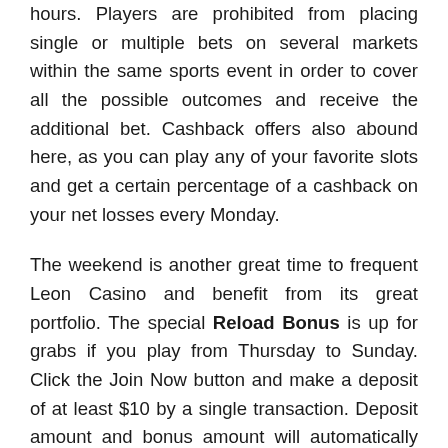hours. Players are prohibited from placing single or multiple bets on several markets within the same sports event in order to cover all the possible outcomes and receive the additional bet. Cashback offers also abound here, as you can play any of your favorite slots and get a certain percentage of a cashback on your net losses every Monday.
The weekend is another great time to frequent Leon Casino and benefit from its great portfolio. The special Reload Bonus is up for grabs if you play from Thursday to Sunday. Click the Join Now button and make a deposit of at least $10 by a single transaction. Deposit amount and bonus amount will automatically be credited to your bonus account straight after the deposit has been processed. Use this amount for